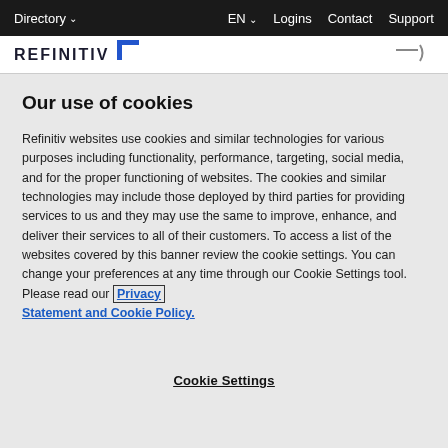Directory    EN    Logins   Contact   Support
[Figure (logo): Refinitiv logo with blue bracket icon]
Our use of cookies
Refinitiv websites use cookies and similar technologies for various purposes including functionality, performance, targeting, social media, and for the proper functioning of websites. The cookies and similar technologies may include those deployed by third parties for providing services to us and they may use the same to improve, enhance, and deliver their services to all of their customers. To access a list of the websites covered by this banner review the cookie settings. You can change your preferences at any time through our Cookie Settings tool. Please read our Privacy Statement and Cookie Policy.
Cookie Settings